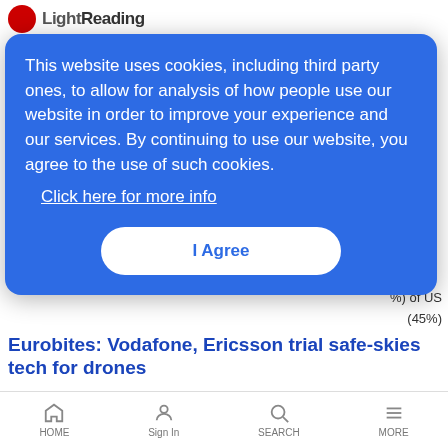LightReading
%) of US
(45%)
effer
ne
CXO Spotlight | 11/13/2020
Cogent, one of the world's largest ISPs, offers customers and competitors the ability to create their own global network, across its entire footprint, while paying on a per-usage basis.
Eurobites: Vodafone, Ericsson trial safe-skies tech for drones
This website uses cookies, including third party ones, to allow for analysis of how people use our website in order to improve your experience and our services. By continuing to use our website, you agree to the use of such cookies.
Click here for more info
I Agree
HOME  Sign In  SEARCH  MORE